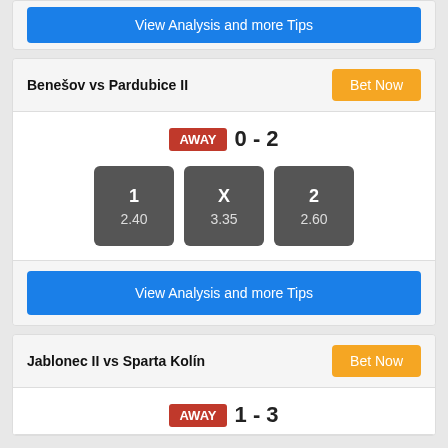View Analysis and more Tips
Benešov vs Pardubice II
Bet Now
AWAY 0 - 2
| 1 | X | 2 |
| --- | --- | --- |
| 2.40 | 3.35 | 2.60 |
View Analysis and more Tips
Jablonec II vs Sparta Kolín
Bet Now
AWAY 1 - 3